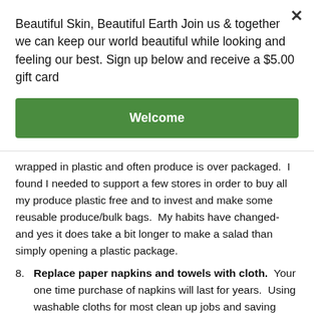Beautiful Skin, Beautiful Earth Join us & together we can keep our world beautiful while looking and feeling our best. Sign up below and receive a $5.00 gift card
Welcome
wrapped in plastic and often produce is over packaged.  I found I needed to support a few stores in order to buy all my produce plastic free and to invest and make some reusable produce/bulk bags.  My habits have changed- and yes it does take a bit longer to make a salad than simply opening a plastic package.
8. Replace paper napkins and towels with cloth.  Your one time purchase of napkins will last for years.  Using washable cloths for most clean up jobs and saving paper towels for big messes will help you cut down on waste.